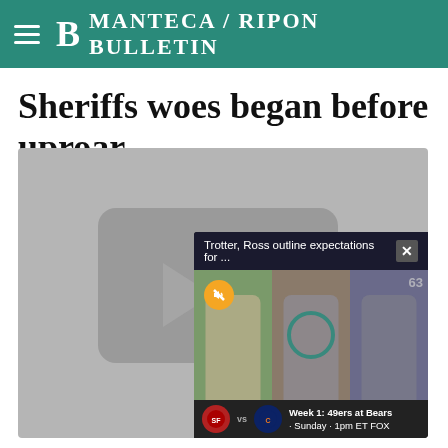Manteca / Ripon Bulletin
Sheriffs woes began before uproar
[Figure (screenshot): A video player placeholder showing a gray background with a video popup overlay. The popup is titled 'Trotter, Ross outline expectations for ...' with a close button. The popup shows three panelists in a sports discussion segment, with a bottom bar showing '49ers at Bears - Week 1, Sunday 1pm ET FOX' with team logos. A mute icon and teal circle loading indicator are visible.]